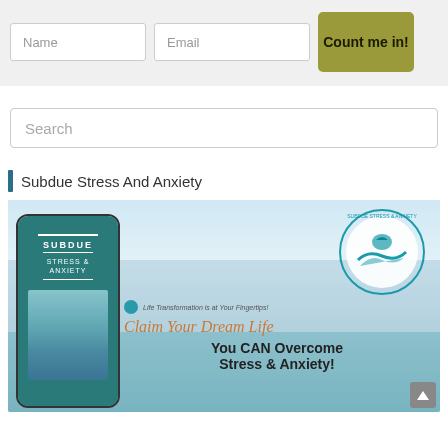[Figure (screenshot): Web form with Name and Email input fields and a gold 'Count me in!' button on a light gray background]
[Figure (screenshot): Search bar input field with placeholder text 'Search']
Subdue Stress And Anxiety
[Figure (photo): Promotional image for 'Subdue Stress & Anxiety' course showing a smartphone with the course cover, a circular logo reading 'Subdue Stress & Anxiety - Life Master Turn-Around Course', and text 'Life Transformation is at Your Fingertips! Claim Your Dream Life – You CAN Overcome Stress & Anxiety!']